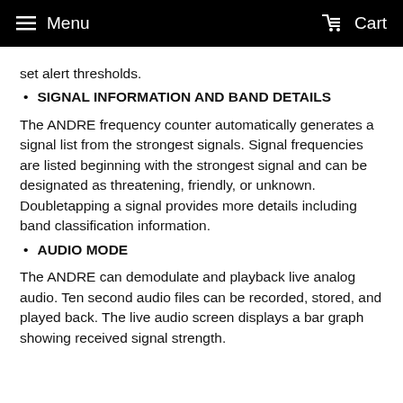Menu  Cart
set alert thresholds.
SIGNAL INFORMATION AND BAND DETAILS
The ANDRE frequency counter automatically generates a signal list from the strongest signals. Signal frequencies are listed beginning with the strongest signal and can be designated as threatening, friendly, or unknown. Doubletapping a signal provides more details including band classification information.
AUDIO MODE
The ANDRE can demodulate and playback live analog audio. Ten second audio files can be recorded, stored, and played back. The live audio screen displays a bar graph showing received signal strength.